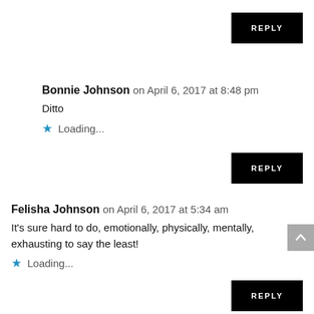[Figure (other): Black REPLY button at top right]
Bonnie Johnson on April 6, 2017 at 8:48 pm
Ditto
Loading...
[Figure (other): Black REPLY button in middle right]
Felisha Johnson on April 6, 2017 at 5:34 am
It's sure hard to do, emotionally, physically, mentally, exhausting to say the least!
Loading...
[Figure (other): Black REPLY button at bottom right (partially visible)]